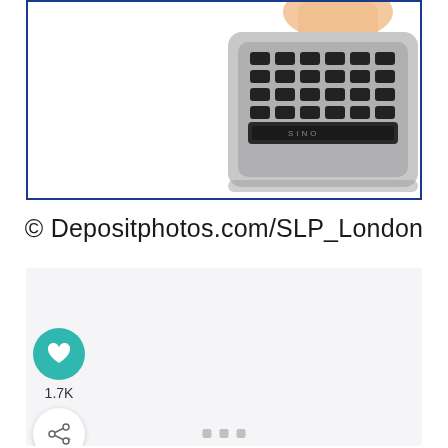[Figure (photo): Photo of a large silver desktop calculator with black keys and a person's hand pressing keys, shown in a bordered box with blue border]
© Depositphotos.com/SLP_London
[Figure (screenshot): A blank/loading content panel with a teal heart/like button showing 1.7K likes, a share button, and three grey square dots at the bottom indicating a carousel or slideshow]